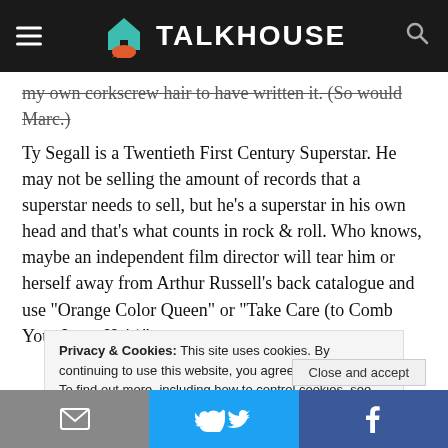TALKHOUSE
my own corkscrew hair to have written it. (So would Marc.)
Ty Segall is a Twentieth First Century Superstar. He may not be selling the amount of records that a superstar needs to sell, but he’s a superstar in his own head and that’s what counts in rock & roll. Who knows, maybe an independent film director will tear him or herself away from Arthur Russell’s back catalogue and use “Orange Color Queen” or “Take Care (to Comb Your Long Hair)”
Privacy & Cookies: This site uses cookies. By continuing to use this website, you agree to their use.
To find out more, including how to control cookies, see here: Cookie Policy